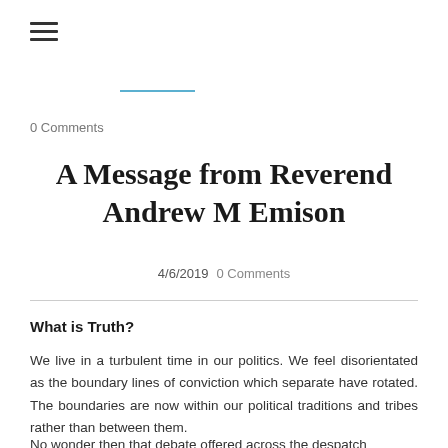0 Comments
A Message from Reverend Andrew M Emison
4/6/2019  0 Comments
What is Truth?
We live in a turbulent time in our politics. We feel disorientated as the boundary lines of conviction which separate have rotated. The boundaries are now within our political traditions and tribes rather than between them.
No wonder then that debate offered across the despatch